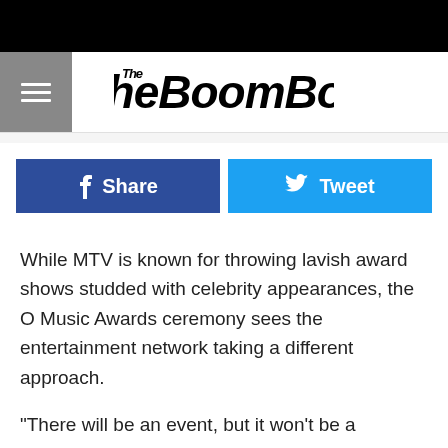The BoomBox
Share
Tweet
While MTV is known for throwing lavish award shows studded with celebrity appearances, the O Music Awards ceremony sees the entertainment network taking a different approach.
"There will be an event, but it won't be a traditional awards show with a host, audience and a bunch of celebrities," explained Vice President of Music Strategy Shannon Connolly. "It will embody what the O Awards celebrates, which is being very interactive. We'll have live performances